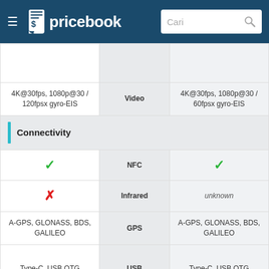pricebook — Cari
| Left | Feature | Right |
| --- | --- | --- |
|  |  |  |
| 4K@30fps, 1080p@30 / 120fpsx gyro-EIS | Video | 4K@30fps, 1080p@30 / 60fpsx gyro-EIS |
| Connectivity |  |  |
| ✓ | NFC | ✓ |
| ✗ | Infrared | unknown |
| A-GPS, GLONASS, BDS, GALILEO | GPS | A-GPS, GLONASS, BDS, GALILEO |
| Type-C, USB OTG | USB | Type-C, USB OTG |